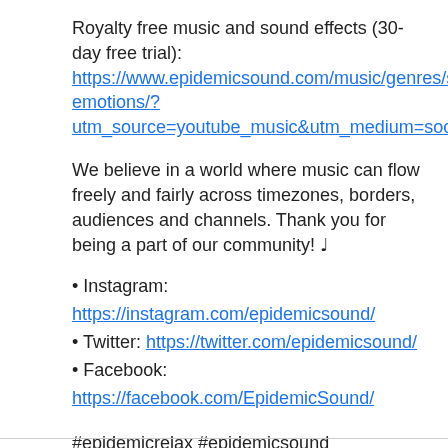Royalty free music and sound effects (30-day free trial): https://www.epidemicsound.com/music/genres/small-emotions/?utm_source=youtube_music&utm_medium=social&utm_campaign=youtubeepidemicrelax
We believe in a world where music can flow freely and fairly across timezones, borders, audiences and channels. Thank you for being a part of our community! ♩
• Instagram: https://instagram.com/epidemicsound/
• Twitter: https://twitter.com/epidemicsound/
• Facebook: https://facebook.com/EpidemicSound/
#epidemicrelax #epidemicsound